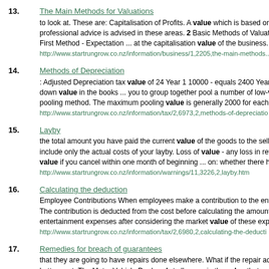13. The Main Methods for Valuations
to look at. These are: Capitalisation of Profits. A value which is based on the c... professional advice is advised in these areas. 2 Basic Methods of Valuation Th... First Method - Expectation ... at the capitalisation value of the business. There...
http://www.startrungrow.co.nz/information/business/1,2205,the-main-methods...
14. Methods of Depreciation
: Adjusted Depreciation tax value of 24 Year 1 10000 - equals 2400 Year 2 76... down value in the books ... you to group together pool a number of low-value... pooling method. The maximum pooling value is generally 2000 for each indivi...
http://www.startrungrow.co.nz/information/tax/2,6973,2,methods-of-depreciatio...
15. Layby
the total amount you have paid the current value of the goods to the seller am... include only the actual costs of your layby. Loss of value - any loss in retail va... value if you cancel within one month of beginning ... on: whether there has be...
http://www.startrungrow.co.nz/information/warnings/11,3226,2,layby.htm
16. Calculating the deduction
Employee Contributions When employees make a contribution to the entertain... The contribution is deducted from the cost before calculating the amount that... entertainment expenses after considering the market value of these expenses...
http://www.startrungrow.co.nz/information/tax/2,6980,2,calculating-the-deducti...
17. Remedies for breach of guarantees
that they are going to have repairs done elsewhere. What if the repair adds to... betterment. The Motor Vehicle Dealers Act allows ... in the value that results f... value if they have made a claim under the Consumer Guarantees Act ... for th...
http://www.startrungrow.co.nz/information/business/1,2223,6,remedies-for-br...